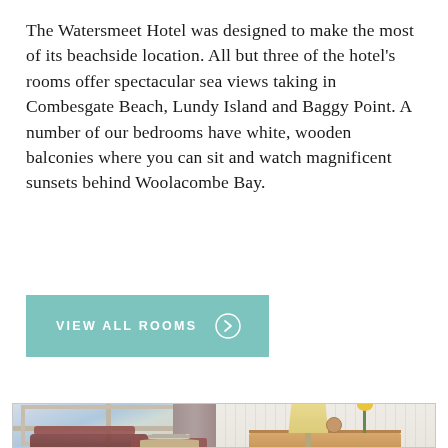The Watersmeet Hotel was designed to make the most of its beachside location. All but three of the hotel's rooms offer spectacular sea views taking in Combesgate Beach, Lundy Island and Baggy Point. A number of our bedrooms have white, wooden balconies where you can sit and watch magnificent sunsets behind Woolacombe Bay.
[Figure (other): Teal/green button with text VIEW ALL ROOMS and a right-arrow circle icon]
[Figure (photo): Interior photo of a hotel room with large windows showing sea views, grey curtains, white panelled walls, wooden desk with lamp and yellow tulips, and patterned armchairs in the foreground]